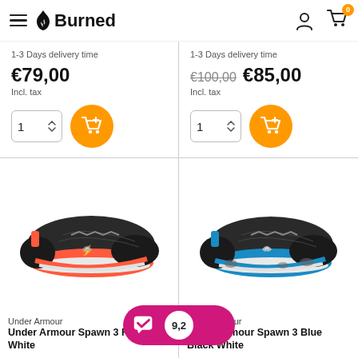Burned — navigation header with hamburger menu, logo, user icon, cart (0)
1-3 Days delivery time
€79,00
Incl. tax
1-3 Days delivery time
€100,00 €85,00
Incl. tax
[Figure (photo): Under Armour Spawn 3 Red Black White basketball shoe, black mesh upper with red/coral sole and UA logo]
Under Armour
Under Armour Spawn 3 Red Black White
[Figure (photo): Under Armour Spawn 3 Blue Black White basketball shoe, black mesh upper with blue sole and UA logo]
Under Armour
Under Armour Spawn 3 Blue Black White
[Figure (logo): Kiyoh review badge: pink/magenta rounded rectangle with checkmark icon and score 9,2]